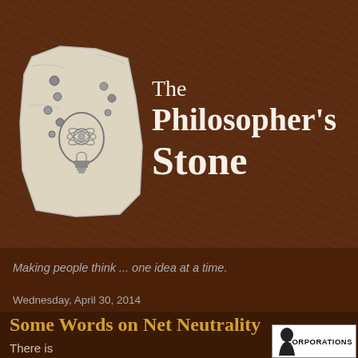[Figure (logo): The Philosopher's Stone blog logo: a stone tablet with a steampunk light bulb illustration, alongside stylized serif text reading 'The Philosopher's Stone' on a brown aged-map background]
Making people think ... one idea at a time.
Wednesday, April 30, 2014
Some Words on Net Neutrality
There is another
[Figure (screenshot): Partial image showing a figure with text 'CORPORATIONS' in bold black letters on white background]